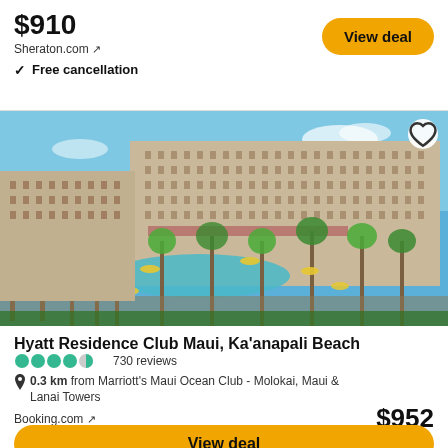$910
Sheraton.com ↗
✓ Free cancellation
View deal
[Figure (photo): Aerial/overhead view of the Hyatt Residence Club Maui, Ka'anapali Beach resort showing large multi-story hotel buildings, palm trees, pools, and the ocean in the background]
Hyatt Residence Club Maui, Ka'anapali Beach
730 reviews
0.3 km from Marriott's Maui Ocean Club - Molokai, Maui & Lanai Towers
Booking.com ↗
$952
View deal